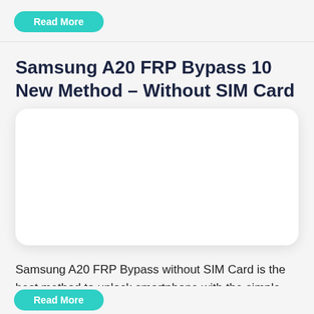[Figure (other): Teal/green rounded button partially visible at top of page]
Samsung A20 FRP Bypass 10 New Method – Without SIM Card
[Figure (photo): White card/image placeholder with rounded corners and drop shadow]
Samsung A20 FRP Bypass without SIM Card is the best method to unlock smartphone with the simple and …
[Figure (other): Teal/green rounded button partially visible at bottom of page]